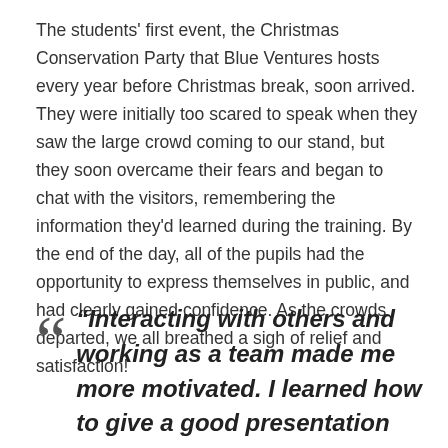The students' first event, the Christmas Conservation Party that Blue Ventures hosts every year before Christmas break, soon arrived. They were initially too scared to speak when they saw the large crowd coming to our stand, but they soon overcame their fears and began to chat with the visitors, remembering the information they'd learned during the training. By the end of the day, all of the pupils had the opportunity to express themselves in public, and had clearly gained confidence. As the crowds departed, we all breathed a sigh of relief and satisfaction!
“Interacting with others and working as a team made me more motivated. I learned how to give a good presentation without being